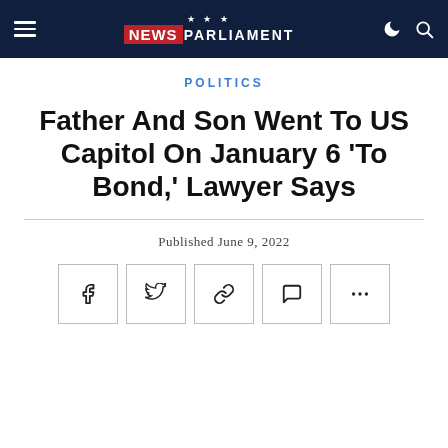NEWS PARLIAMENT
POLITICS
Father And Son Went To US Capitol On January 6 'To Bond,' Lawyer Says
Published June 9, 2022
[Figure (other): Social sharing buttons: Facebook, Twitter, Link, Comment, More (ellipsis)]